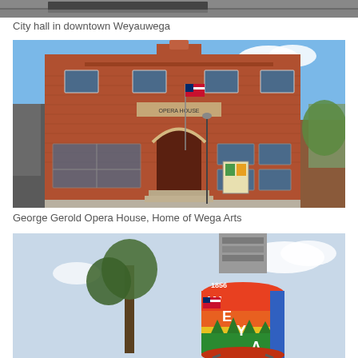[Figure (photo): Partial top of a photo showing a street scene, cropped at top of page]
City hall in downtown Weyauwega
[Figure (photo): George Gerold Opera House, a two-story red brick building with arched entrance, American flag, and sign for Wega Arts]
George Gerold Opera House, Home of Wega Arts
[Figure (photo): Colorful water tower painted with rainbow colors and text reading 1856 WEYAUWEGA, partially cropped at bottom of page]